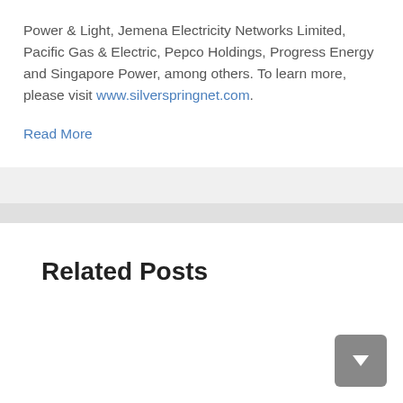Power & Light, Jemena Electricity Networks Limited, Pacific Gas & Electric, Pepco Holdings, Progress Energy and Singapore Power, among others. To learn more, please visit www.silverspringnet.com.
Read More
Related Posts